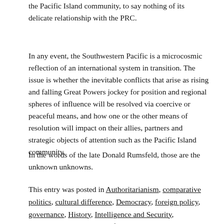the Pacific Island community, to say nothing of its delicate relationship with the PRC.
In any event, the Southwestern Pacific is a microcosmic reflection of an international system in transition. The issue is whether the inevitable conflicts that arise as rising and falling Great Powers jockey for position and regional spheres of influence will be resolved via coercive or peaceful means, and how one or the other means of resolution will impact on their allies, partners and strategic objects of attention such as the Pacific Island community.
In the words of the late Donald Rumsfeld, those are the unknown unknowns.
This entry was posted in Authoritarianism, comparative politics, cultural difference, Democracy, foreign policy, governance, History, Intelligence and Security, International relations, NZ foreign policy, NZ Security, Politics, PRC, South Pacific,